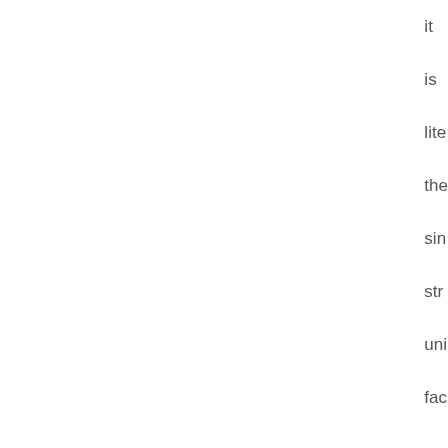it
is
lite
the
sin
str
uni
fac
am
all
Tru
sup
and
ess
nob
wh
bel
Ob